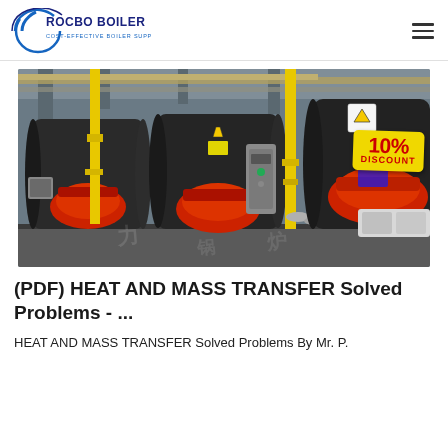ROCBO BOILER — COST-EFFECTIVE BOILER SUPPLIER
[Figure (photo): Industrial boiler room with multiple large horizontal fire-tube boilers in black and red, with yellow vertical pipes, control panels, warning signs, and a '10% DISCOUNT' badge in the top right corner.]
(PDF) HEAT AND MASS TRANSFER Solved Problems - ...
HEAT AND MASS TRANSFER Solved Problems By Mr. P.